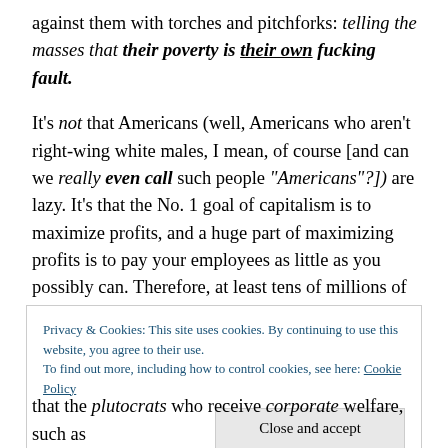against them with torches and pitchforks: telling the masses that their poverty is their own fucking fault.
It's not that Americans (well, Americans who aren't right-wing white males, I mean, of course [and can we really even call such people "Americans"?]) are lazy. It's that the No. 1 goal of capitalism is to maximize profits, and a huge part of maximizing profits is to pay your employees as little as you possibly can. Therefore, at least tens of millions of Americans don't even earn a living wage.
Privacy & Cookies: This site uses cookies. By continuing to use this website, you agree to their use.
To find out more, including how to control cookies, see here: Cookie Policy
that the plutocrats who receive corporate welfare, such as